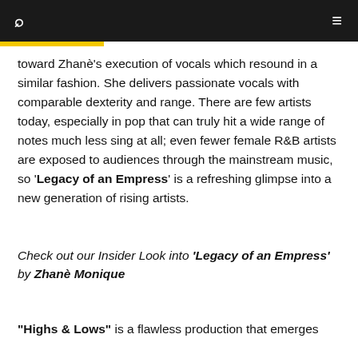🔍  ≡
toward Zhanè's execution of vocals which resound in a similar fashion. She delivers passionate vocals with comparable dexterity and range. There are few artists today, especially in pop that can truly hit a wide range of notes much less sing at all; even fewer female R&B artists are exposed to audiences through the mainstream music, so 'Legacy of an Empress' is a refreshing glimpse into a new generation of rising artists.
Check out our Insider Look into 'Legacy of an Empress' by Zhanè Monique
"Highs & Lows" is a flawless production that emerges